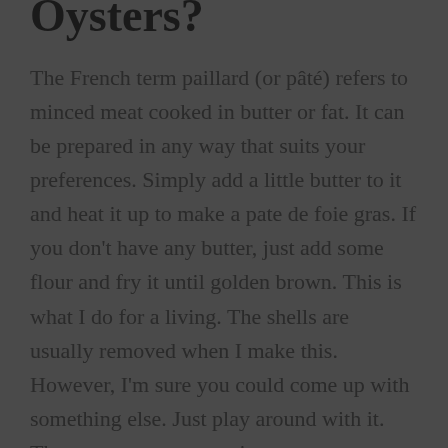Oysters?
The French term paillard (or pâté) refers to minced meat cooked in butter or fat. It can be prepared in any way that suits your preferences. Simply add a little butter to it and heat it up to make a pate de foie gras. If you don't have any butter, just add some flour and fry it until golden brown. This is what I do for a living. The shells are usually removed when I make this. However, I'm sure you could come up with something else. Just play around with it. There are numerous variants.
Is it true that Rocky Mountain Oysters